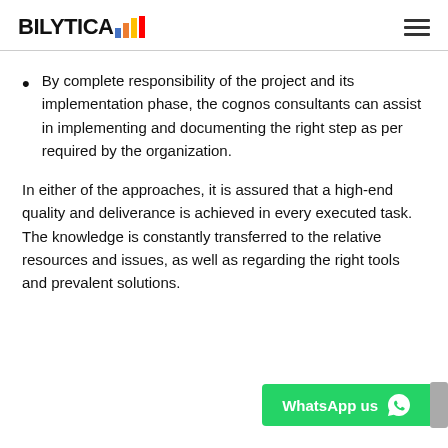BILYTICA
By complete responsibility of the project and its implementation phase, the cognos consultants can assist in implementing and documenting the right step as per required by the organization.
In either of the approaches, it is assured that a high-end quality and deliverance is achieved in every executed task. The knowledge is constantly transferred to the relative resources and issues, as well as regarding the right tools and prevalent solutions.